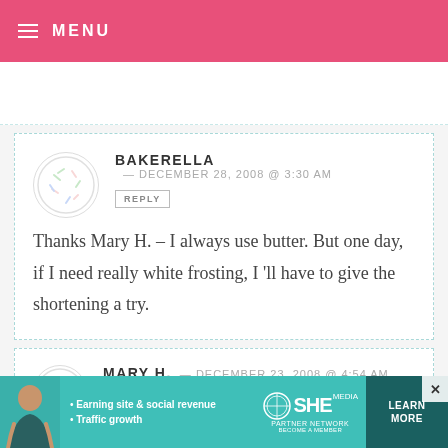≡ MENU
BAKERELLA — DECEMBER 28, 2008 @ 3:30 AM
REPLY
Thanks Mary H. – I always use butter. But one day, if I need really white frosting, I 'll have to give the shortening a try.
MARY H. — DECEMBER 23, 2008 @ 4:54 AM
[Figure (infographic): SHE Partner Network advertisement banner: Earning site & social revenue, Traffic growth, LEARN MORE button]